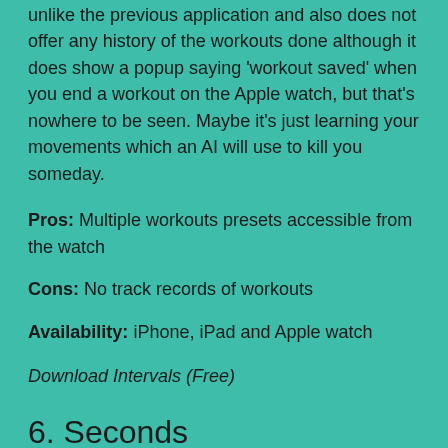unlike the previous application and also does not offer any history of the workouts done although it does show a popup saying 'workout saved' when you end a workout on the Apple watch, but that's nowhere to be seen. Maybe it's just learning your movements which an AI will use to kill you someday.
Pros: Multiple workouts presets accessible from the watch
Cons: No track records of workouts
Availability: iPhone, iPad and Apple watch
Download Intervals (Free)
6. Seconds
This workout timer application seems a little too simple like its name when you first open it on your apple watch. But don't be disguised,